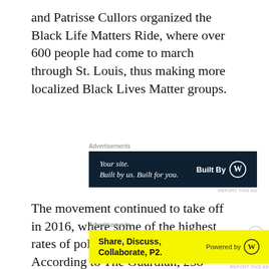and Patrisse Cullors organized the Black Life Matters Ride, where over 600 people had come to march through St. Louis, thus making more localized Black Lives Matter groups.
[Figure (screenshot): Advertisement banner with dark navy background. Left side reads 'Your site. Built by us. Built for you.' in italic white serif text. Right side reads 'Built By' with WordPress logo in white.]
The movement continued to take off in 2016, where some of the highest rates of police brutality occurred. According to The Guardian, 258 black people were killed that year. One of those people being Philando Castile, who was shot three times because he had a "busted taillight," according to his
[Figure (screenshot): Advertisement banner with bright yellow background. Left side reads 'Share, Discuss, Collaborate, P2.' in bold black sans-serif text. Right side reads 'Powered by' with WordPress logo.]